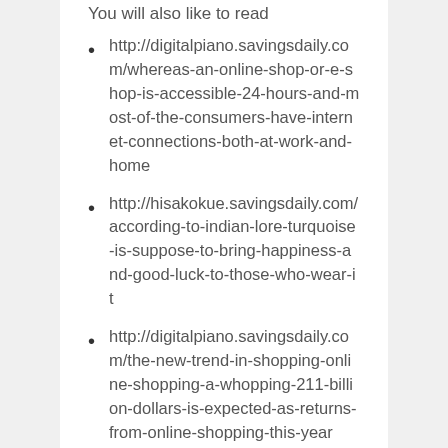You will also like to read
http://digitalpiano.savingsdaily.com/whereas-an-online-shop-or-e-shop-is-accessible-24-hours-and-most-of-the-consumers-have-internet-connections-both-at-work-and-home
http://hisakokue.savingsdaily.com/according-to-indian-lore-turquoise-is-suppose-to-bring-happiness-and-good-luck-to-those-who-wear-it
http://digitalpiano.savingsdaily.com/the-new-trend-in-shopping-online-shopping-a-whopping-211-billion-dollars-is-expected-as-returns-from-online-shopping-this-year
http://mybadami.savingsdaily.com/o